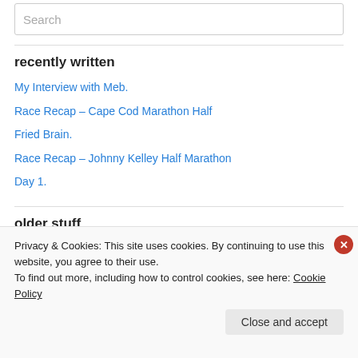Search
recently written
My Interview with Meb.
Race Recap – Cape Cod Marathon Half
Fried Brain.
Race Recap – Johnny Kelley Half Marathon
Day 1.
older stuff
Privacy & Cookies: This site uses cookies. By continuing to use this website, you agree to their use.
To find out more, including how to control cookies, see here: Cookie Policy
Close and accept